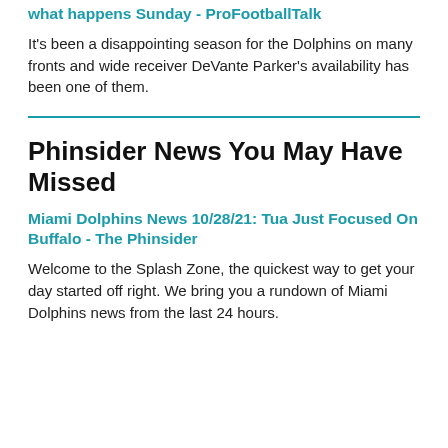what happens Sunday - ProFootballTalk
It's been a disappointing season for the Dolphins on many fronts and wide receiver DeVante Parker's availability has been one of them.
Phinsider News You May Have Missed
Miami Dolphins News 10/28/21: Tua Just Focused On Buffalo - The Phinsider
Welcome to the Splash Zone, the quickest way to get your day started off right. We bring you a rundown of Miami Dolphins news from the last 24 hours.